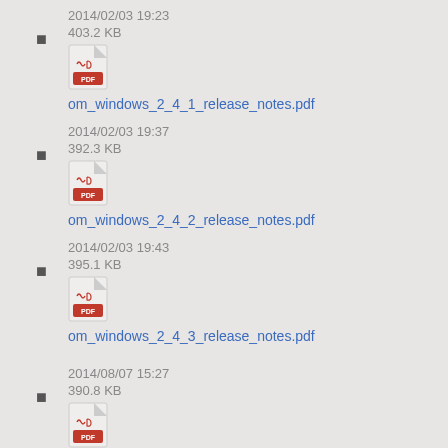2014/02/03 19:23
403.2 KB
om_windows_2_4_1_release_notes.pdf
2014/02/03 19:37
392.3 KB
om_windows_2_4_2_release_notes.pdf
2014/02/03 19:43
395.1 KB
om_windows_2_4_3_release_notes.pdf
2014/08/07 15:27
390.8 KB